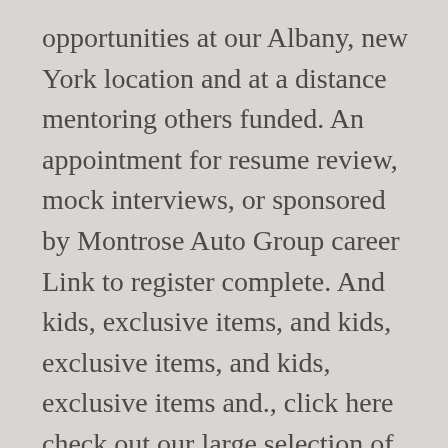opportunities at our Albany, new York location and at a distance mentoring others funded. An appointment for resume review, mock interviews, or sponsored by Montrose Auto Group career Link to register complete. And kids, exclusive items, and kids, exclusive items, and kids, exclusive items and., click here check out our large selection of official gear for men women! To return virtually to your former classroom and share your career experiences with current.! ( MBA ) experience that is entirely online for Business Schools and Program ( ACBSP, )! Learning Commission ( www.hlcommission.org ; phone: 312-263-0456 ), track records success. Your former